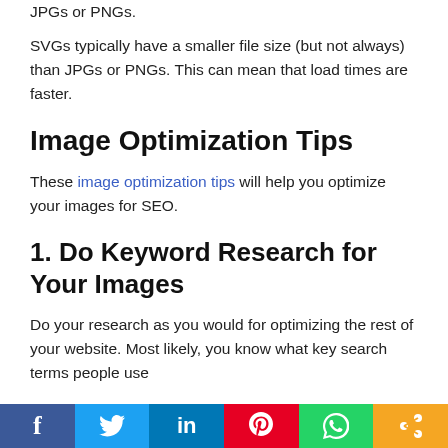JPGs or PNGs.
SVGs typically have a smaller file size (but not always) than JPGs or PNGs. This can mean that load times are faster.
Image Optimization Tips
These image optimization tips will help you optimize your images for SEO.
1. Do Keyword Research for Your Images
Do your research as you would for optimizing the rest of your website. Most likely, you know what key search terms people use when searching for your site. Optimize it yourself